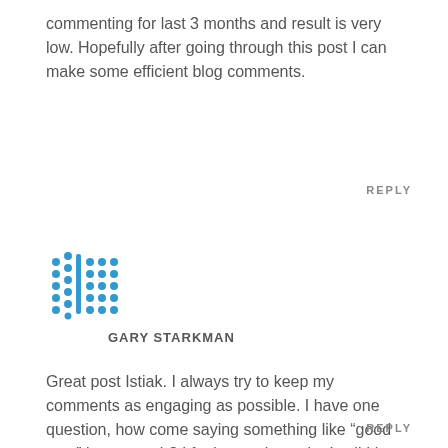commenting for last 3 months and result is very low. Hopefully after going through this post I can make some efficient blog comments.
REPLY
[Figure (logo): Blue avatar icon made of dots arranged in a grid pattern with a vertical line, resembling a stylized person or brand icon]
GARY STARKMAN
Great post Istiak. I always try to keep my comments as engaging as possible. I have one question, how come saying something like “good post” isnt enough? I feel sometimes that’s all I have to say and I want to make sure the author is getting feedback.
REPLY